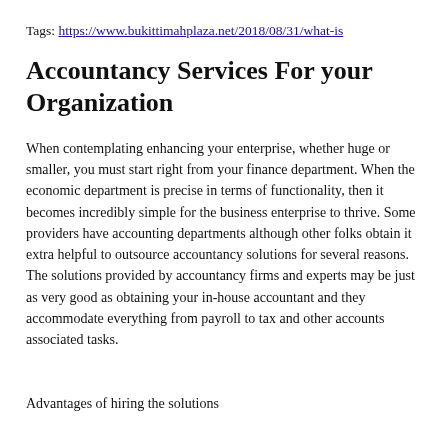Tags: https://www.bukittimahplaza.net/2018/08/31/what-is
Accountancy Services For your Organization
When contemplating enhancing your enterprise, whether huge or smaller, you must start right from your finance department. When the economic department is precise in terms of functionality, then it becomes incredibly simple for the business enterprise to thrive. Some providers have accounting departments although other folks obtain it extra helpful to outsource accountancy solutions for several reasons. The solutions provided by accountancy firms and experts may be just as very good as obtaining your in-house accountant and they accommodate everything from payroll to tax and other accounts associated tasks.
Advantages of hiring the solutions